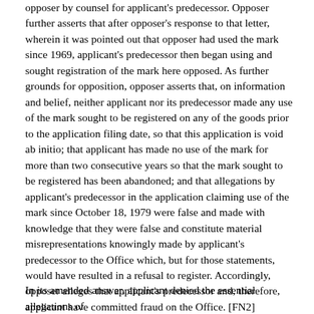opposer by counsel for applicant's predecessor. Opposer further asserts that after opposer's response to that letter, wherein it was pointed out that opposer had used the mark since 1969, applicant's predecessor then began using and sought registration of the mark here opposed. As further grounds for opposition, opposer asserts that, on information and belief, neither applicant nor its predecessor made any use of the mark sought to be registered on any of the goods prior to the application filing date, so that this application is void ab initio; that applicant has made no use of the mark for more than two consecutive years so that the mark sought to be registered has been abandoned; and that allegations by applicant's predecessor in the application claiming use of the mark since October 18, 1979 were false and made with knowledge that they were false and constitute material misrepresentations knowingly made by applicant's predecessor to the Office which, but for those statements, would have resulted in a refusal to register. Accordingly, opposer alleges that applicant's predecessor and, therefore, applicant have committed fraud on the Office. [FN2]
In its amended answer, applicant denied the essential allegations of